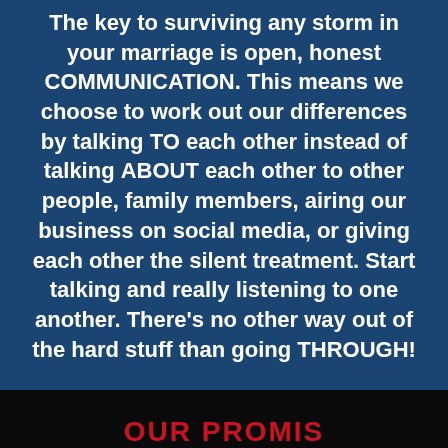The key to surviving any storm in your marriage is open, honest COMMUNICATION. This means we choose to work out our differences by talking TO each other instead of talking ABOUT each other to other people, family members, airing our business on social media, or giving each other the silent treatment. Start talking and really listening to one another. There's no other way out of the hard stuff than going THROUGH!
OUR PROMISE